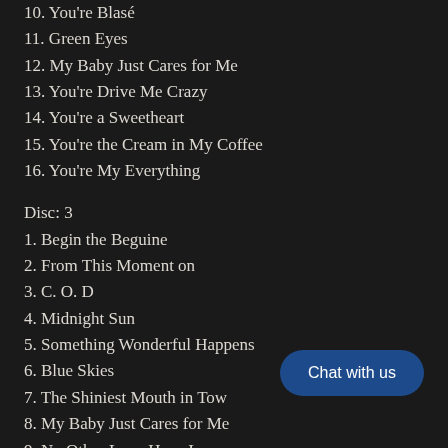10. You're Blasé
11. Green Eyes
12. My Baby Just Cares for Me
13. You're Drive Me Crazy
14. You're a Sweetheart
15. You're the Cream in My Coffee
16. You're My Everything
Disc: 3
1. Begin the Beguine
2. From This Moment on
3. C. O. D
4. Midnight Sun
5. Something Wonderful Happens
6. Blue Skies
7. The Shiniest Mouth in Town
8. My Baby Just Cares for Me
9. No Other Love Have I